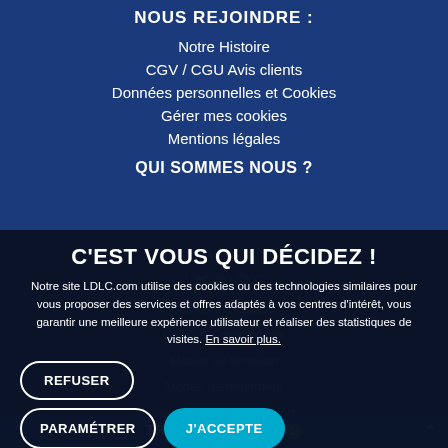NOUS REJOINDRE :
Notre Histoire
CGV / CGU Avis clients
Données personnelles et Cookies
Gérer mes cookies
Mentions légales
QUI SOMMES NOUS ?
Vendez sur LDLC.COM
L'école LDLC
BESOIN D'AIDE ?
Covid & Confinement
Modes de livraison
Modes de règlement
Garantie et Pack Confort
C'EST VOUS QUI DÉCIDEZ !
Notre site LDLC.com utilise des cookies ou des technologies similaires pour vous proposer des services et offres adaptés à vos centres d'intérêt, vous garantir une meilleure expérience utilisateur et réaliser des statistiques de visites. En savoir plus.
REFUSER
PARAMÉTRER
J'ACCEPTE
TRIER / FILTRER 1